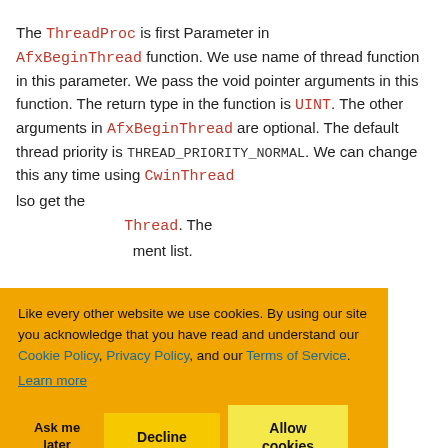The ThreadProc is first Parameter in AfxBeginThread function. We use name of thread function in this parameter. We pass the void pointer arguments in this function. The return type in the function is UINT. The other arguments in AfxBeginThread are optional. The default thread priority is THREAD_PRIORITY_NORMAL. We can change this any time using CwinThread [also get the] ... [CWinThread]. The ... ment list.
[Figure (screenshot): Cookie consent banner overlay with orange background. Text reads: 'Like every other website we use cookies. By using our site you acknowledge that you have read and understand our Cookie Policy, Privacy Policy, and our Terms of Service. Learn more'. Buttons: 'Ask me later', 'Decline', 'Allow cookies'.]